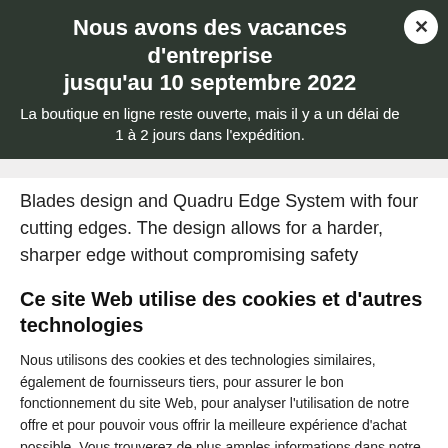Nous avons des vacances d'entreprise jusqu'au 10 septembre 2022
La boutique en ligne reste ouverte, mais il y a un délai de 1 à 2 jours dans l'expédition.
Blades design and Quadru Edge System with four cutting edges. The design allows for a harder, sharper edge without compromising safety standards.
Ce site Web utilise des cookies et d'autres technologies
Nous utilisons des cookies et des technologies similaires, également de fournisseurs tiers, pour assurer le bon fonctionnement du site Web, pour analyser l'utilisation de notre offre et pour pouvoir vous offrir la meilleure expérience d'achat possible. Vous trouverez de plus amples informations dans notre déclaration de protection des données.
Accept all
Informations Complémentaires